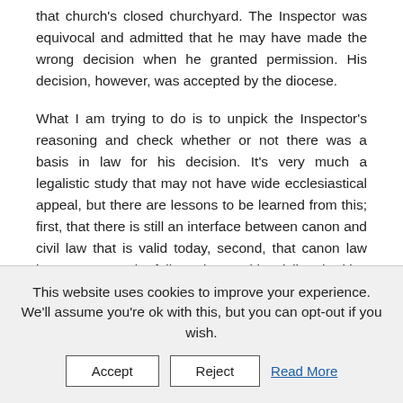that church's closed churchyard. The Inspector was equivocal and admitted that he may have made the wrong decision when he granted permission. His decision, however, was accepted by the diocese.
What I am trying to do is to unpick the Inspector's reasoning and check whether or not there was a basis in law for his decision. It's very much a legalistic study that may not have wide ecclesiastical appeal, but there are lessons to be learned from this; first, that there is still an interface between canon and civil law that is valid today, second, that canon law impact may not be fully understood by civil authorities and secular organisations, third, that other parishes may be under similar threat – the RA's website was unduly triumphal about its success, fourth, church authorities are still asleep to this threat and need a wake up call. Other points may occur...
This website uses cookies to improve your experience. We'll assume you're ok with this, but you can opt-out if you wish.